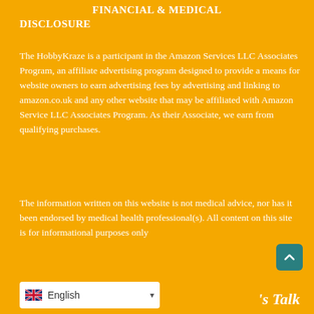FINANCIAL & MEDICAL DISCLOSURE
The HobbyKraze is a participant in the Amazon Services LLC Associates Program, an affiliate advertising program designed to provide a means for website owners to earn advertising fees by advertising and linking to amazon.co.uk and any other website that may be affiliated with Amazon Service LLC Associates Program. As their Associate, we earn from qualifying purchases.
The information written on this website is not medical advice, nor has it been endorsed by medical health professional(s). All content on this site is for informational purposes only
English
's Talk